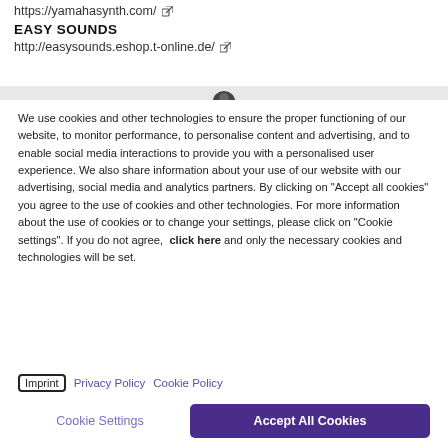https://yamahasynth.com/ ↗
EASY SOUNDS
http://easysounds.eshop.t-online.de/ ↗
We use cookies and other technologies to ensure the proper functioning of our website, to monitor performance, to personalise content and advertising, and to enable social media interactions to provide you with a personalised user experience. We also share information about your use of our website with our advertising, social media and analytics partners. By clicking on "Accept all cookies" you agree to the use of cookies and other technologies. For more information about the use of cookies or to change your settings, please click on "Cookie settings". If you do not agree,  click here and only the necessary cookies and technologies will be set.
Imprint  Privacy Policy  Cookie Policy
Cookie Settings
Accept All Cookies